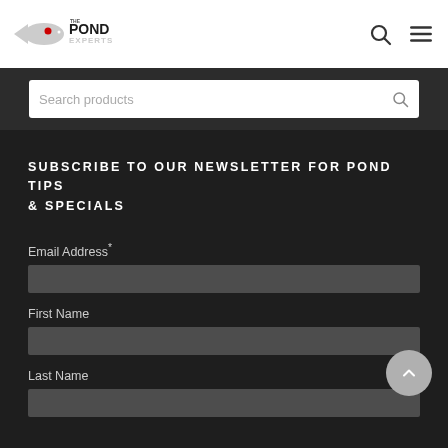[Figure (logo): The Pond Experts logo with fish graphic]
Search products
SUBSCRIBE TO OUR NEWSLETTER FOR POND TIPS & SPECIALS
Email Address*
First Name
Last Name